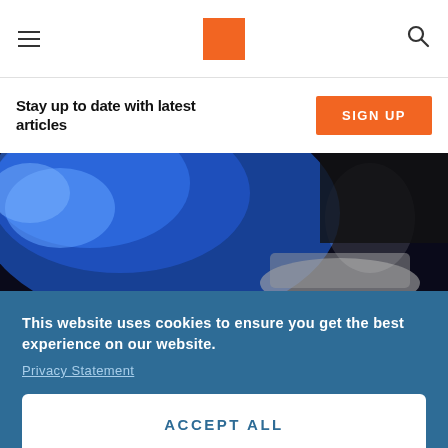Navigation header with hamburger menu, orange logo, and search icon
Stay up to date with latest articles
SIGN UP
[Figure (photo): Close-up photo of a blue-gloved hand holding a laboratory vial or sample container against a dark background]
This website uses cookies to ensure you get the best experience on our website.
Privacy Statement
ACCEPT ALL
Manage